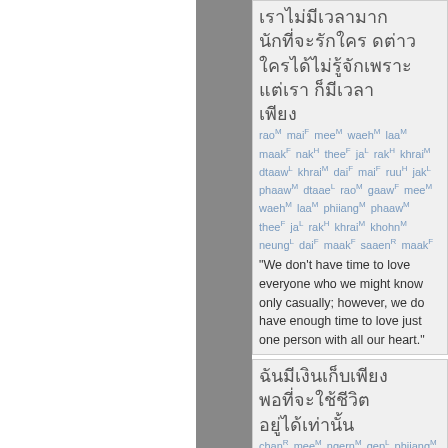Thai text block 1 with romanization: rao(M) mai(F) mee(M) waeh(M) laa(M) maak(F) nak(H) thee(F) ja(L) rak(H) khrai(M) dtaaw(L) khrai(M) dai(F) mai(F) ruu(H) jak(L) phaaw(M) dtaae(L) rao(M) gaaw(F) mee(M) waeh(M) laa(M) phiiang(M) phaaw(M) thee(F) ja(L) rak(H) khrai(M) khohn(M) neung(L) dai(F) maak(F) saaen(R) maak(F). Translation: 'We don't have time to love everyone who we might know only casually; however, we do have enough time to love just one person with all our heart.'
Thai text block 2 with romanization: chan(R) mee(M) ngern(M) gep(L) phiiang(M)...